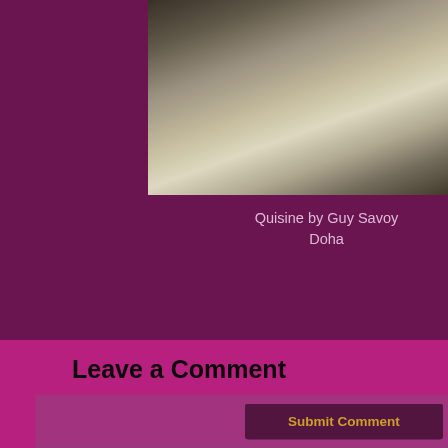[Figure (photo): Restaurant interior with white tablecloths and chairs]
Quisine by Guy Savoy Doha
[Figure (photo): Stack of chocolate brownies and meat dish on white plate]
Cafe No 8, York
[Figure (photo): Food dish on wooden board, partially cropped]
Leave a Comment
Submit Comment
Name*
Mail (will not be published)*
Website